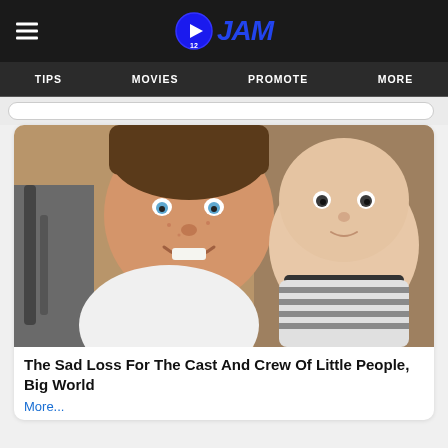O12 JAM
[Figure (screenshot): Navigation bar with hamburger menu on left and O12JAM logo centered, on dark background]
TIPS   MOVIES   PROMOTE   MORE
[Figure (photo): A young man with brown hair and blue eyes smiling, holding a bald baby wearing a striped outfit, both looking at camera]
The Sad Loss For The Cast And Crew Of Little People, Big World
More...